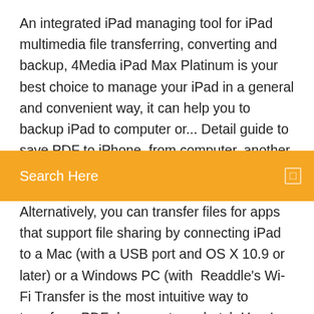An integrated iPad managing tool for iPad multimedia file transferring, converting and backup, 4Media iPad Max Platinum is your best choice to manage your iPad in a general and convenient way, it can help you to backup iPad to computer or... Detail guide to save PDF to iPhone, from computer, another iPhone or download PDF directly. Solve most PDF download and
Search Here
Alternatively, you can transfer files for apps that support file sharing by connecting iPad to a Mac (with a USB port and OS X 10.9 or later) or a Windows PC (with  Readdle's Wi-Fi Transfer is the most intuitive way to transfer a PDF document or a batch Here's how to transfer files between your Mac or PC and iOS device:. 13 Jan 2020 How to Transfer Files to iPad from a Computer.  This wikiHow teaches you how to copy files from your Windows or Mac computer onto your iPad  16 Jun 2019 your PDF).  There are 5 ways to transfer PDF files to iPad & iPhone. Particularly, iCloud looks to be used from the time the PC